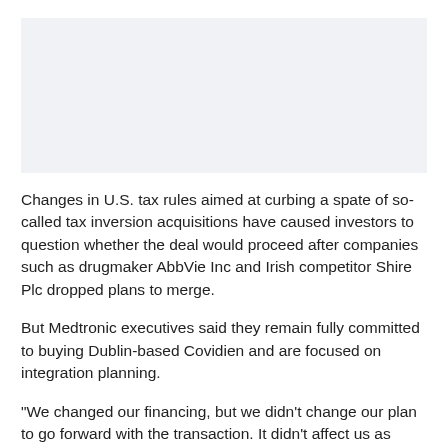[Figure (other): Gray rectangular image placeholder at the top of the page]
Changes in U.S. tax rules aimed at curbing a spate of so-called tax inversion acquisitions have caused investors to question whether the deal would proceed after companies such as drugmaker AbbVie Inc and Irish competitor Shire Plc dropped plans to merge.
But Medtronic executives said they remain fully committed to buying Dublin-based Covidien and are focused on integration planning.
"We changed our financing, but we didn't change our plan to go forward with the transaction. It didn't affect us as much as the other companies," Medtronic Chief Financial Gary Ellis said in an interview.